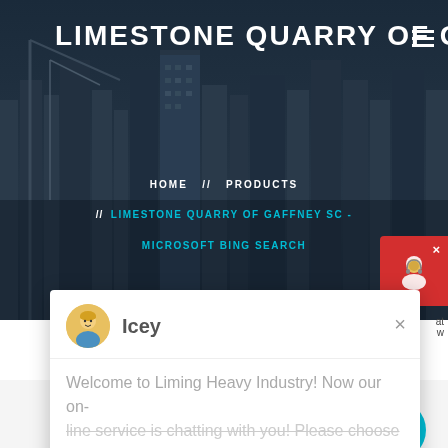LIMESTONE QUARRY OF GAFFNEY
HOME // PRODUCTS // LIMESTONE QUARRY OF GAFFNEY SC - MICROSOFT BING SEARCH
Icey
Welcome to Liming Heavy Industry! Now our on-line service is chatting with you! Please choose the l...
Latest Projects
[Figure (photo): Industrial quarry machinery in a facility]